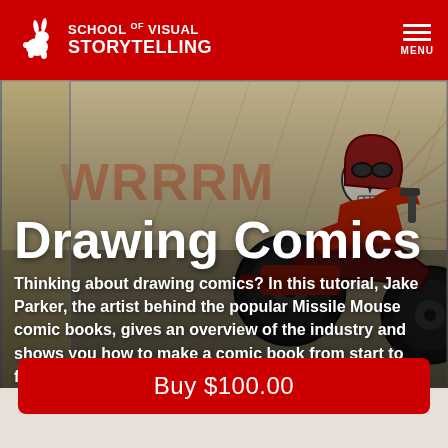SCHOOL OF VISUAL STORYTELLING
[Figure (illustration): Comic book style illustration of a skeleton character riding a motorcycle against a comic panel background with speed lines and text 'WRRRRM']
Drawing Comics
Thinking about drawing comics? In this tutorial, Jake Parker, the artist behind the popular Missile Mouse comic books, gives an overview of the industry and shows you how to make a comic book from start to finish. Ka-pow!
Buy $100.00